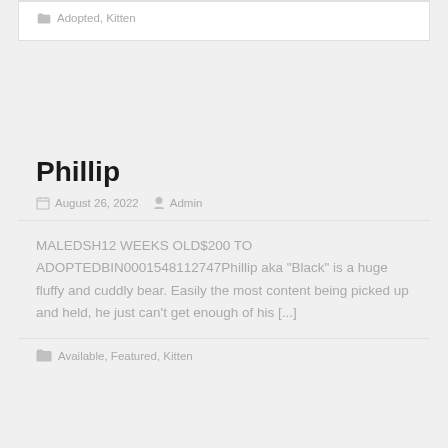Adopted, Kitten
Phillip
August 26, 2022   Admin
MALEDSH12 WEEKS OLD$200 TO ADOPTEDBIN0001548112747Phillip aka "Black" is a huge fluffy and cuddly bear. Easily the most content being picked up and held, he just can't get enough of his [...]
Available, Featured, Kitten